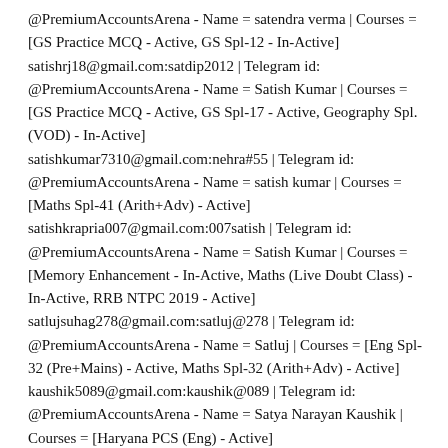@PremiumAccountsArena - Name = satendra verma | Courses = [GS Practice MCQ - Active, GS Spl-12 - In-Active]
satishrj18@gmail.com:satdip2012 | Telegram id:
@PremiumAccountsArena - Name = Satish Kumar | Courses = [GS Practice MCQ - Active, GS Spl-17 - Active, Geography Spl. (VOD) - In-Active]
satishkumar7310@gmail.com:nehra#55 | Telegram id:
@PremiumAccountsArena - Name = satish kumar | Courses = [Maths Spl-41 (Arith+Adv) - Active]
satishkrapria007@gmail.com:007satish | Telegram id:
@PremiumAccountsArena - Name = Satish Kumar | Courses = [Memory Enhancement - In-Active, Maths (Live Doubt Class) - In-Active, RRB NTPC 2019 - Active]
satlujsuhag278@gmail.com:satluj@278 | Telegram id:
@PremiumAccountsArena - Name = Satluj | Courses = [Eng Spl-32 (Pre+Mains) - Active, Maths Spl-32 (Arith+Adv) - Active]
kaushik5089@gmail.com:kaushik@089 | Telegram id:
@PremiumAccountsArena - Name = Satya Narayan Kaushik | Courses = [Haryana PCS (Eng) - Active]